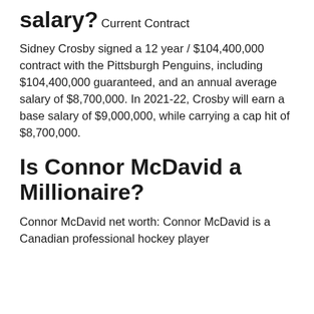salary?
Current Contract
Sidney Crosby signed a 12 year / $104,400,000 contract with the Pittsburgh Penguins, including $104,400,000 guaranteed, and an annual average salary of $8,700,000. In 2021-22, Crosby will earn a base salary of $9,000,000, while carrying a cap hit of $8,700,000.
Is Connor McDavid a Millionaire?
Connor McDavid net worth: Connor McDavid is a Canadian professional hockey player